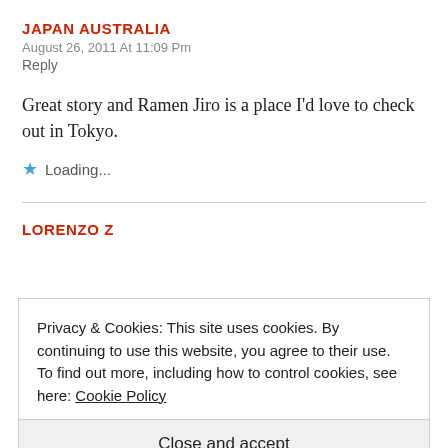JAPAN AUSTRALIA
August 26, 2011 At 11:09 Pm
Reply
Great story and Ramen Jiro is a place I'd love to check out in Tokyo.
Loading...
LORENZO Z
Privacy & Cookies: This site uses cookies. By continuing to use this website, you agree to their use.
To find out more, including how to control cookies, see here: Cookie Policy
Close and accept
"settled" for one shop, because the one we sought for an